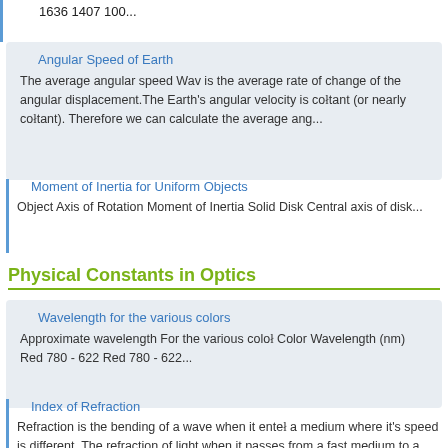1636 1407 100...
Angular Speed of Earth
The average angular speed Wav is the average rate of change of the angular displacement.The Earth's angular velocity is constant (or nearly constant). Therefore we can calculate the average ang...
Moment of Inertia for Uniform Objects
Object Axis of Rotation Moment of Inertia Solid Disk Central axis of disk...
Physical Constants in Optics
Wavelength for the various colors
Approximate wavelength For the various color Color Wavelength (nm) Red 780 - 622 Red 780 - 622...
Index of Refraction
Refraction is the bending of a wave when it enters a medium where it's speed is different. The refraction of light when it passes from a fast medium to a slow medium bends the light ray toward the norm...